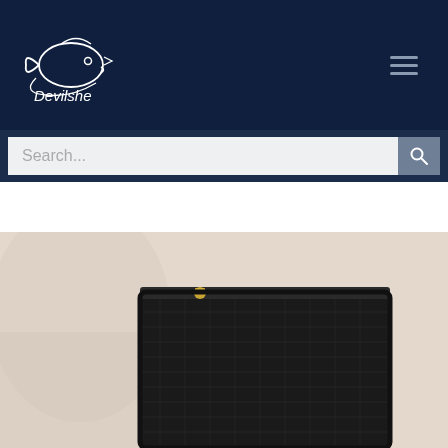[Figure (logo): Devilshe brand logo with fish illustration in white on dark navy background]
Search...
[Figure (photo): Close-up product photo of a black mesh zipper pouch/bag with gold zipper pull, on a neutral beige/cream background]